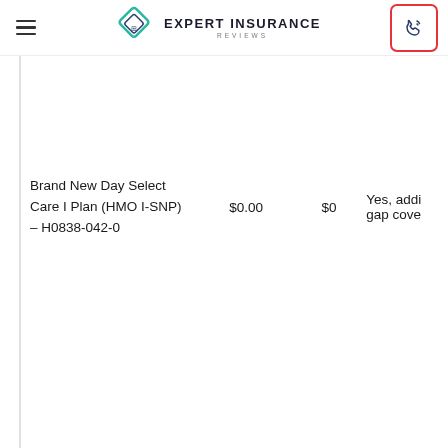[Figure (logo): Expert Insurance Reviews logo with diamond shape and navigation header including hamburger menu and phone button]
| Plan Name | Monthly Premium | Annual Deductible | Drug Coverage |
| --- | --- | --- | --- |
| Brand New Day Select Care I Plan (HMO I-SNP) – H0838-042-0 | $0.00 | $0 | Yes, addi gap cove |